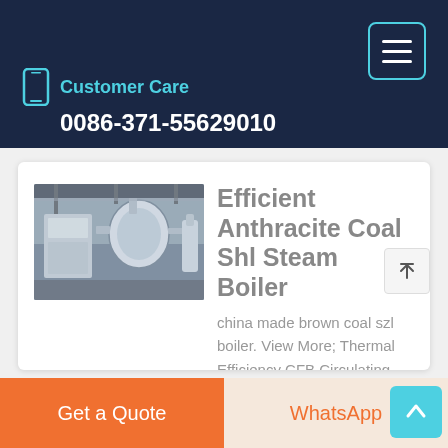Customer Care
0086-371-55629010
[Figure (photo): Industrial boiler equipment in a factory setting]
Efficient Anthracite Coal Shl Steam Boiler
china made brown coal szl boiler. View More; Thermal Efficiency CFB Circulating Fluidized Bed Boilers, Hot Water. China Coal Steam Boiler Water Steam Lignite Coal Boiler. grate boiler. water tube szl boiler. china made anthracite coal dhl boiler. coal